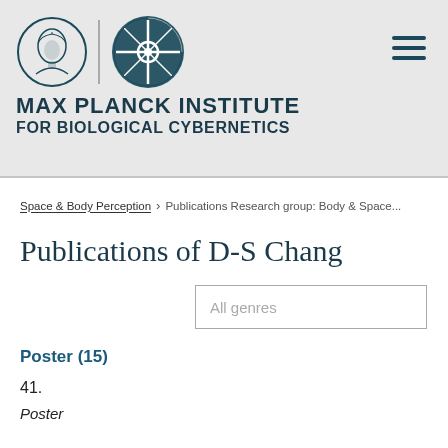[Figure (logo): Max Planck Institute for Biological Cybernetics logo with minerva head emblem and geometric cybernetics symbol, plus hamburger menu icon]
MAX PLANCK INSTITUTE FOR BIOLOGICAL CYBERNETICS
Space & Body Perception > Publications Research group: Body & Space...
Publications of D-S Chang
All genres
Poster (15)
41.
Poster